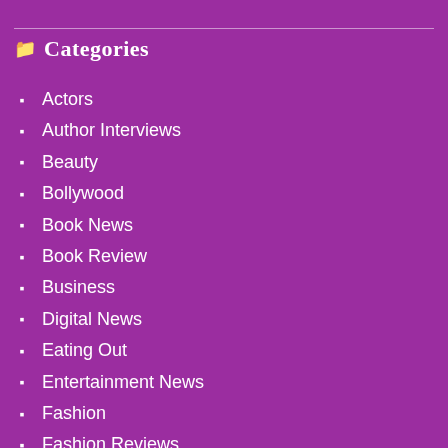Categories
Actors
Author Interviews
Beauty
Bollywood
Book News
Book Review
Business
Digital News
Eating Out
Entertainment News
Fashion
Fashion Reviews
Film Reviews
Fitness
Food Reviews